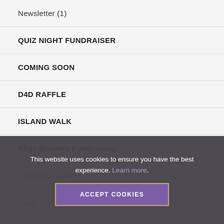Newsletter (1)
QUIZ NIGHT FUNDRAISER
COMING SOON
D4D RAFFLE
ISLAND WALK
Rhys Moseley Fundraising
Christmas Lunch
Yoga
NORTH2SOUTH WALK
This website uses cookies to ensure you have the best experience. Learn more.
ACCEPT COOKIES